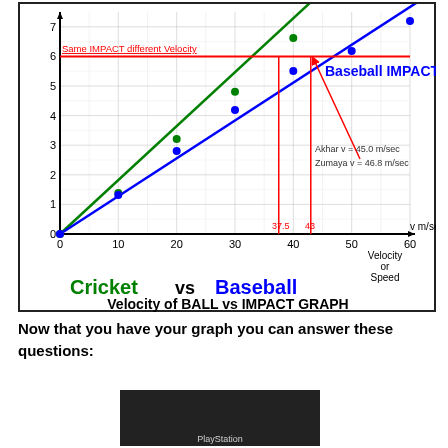[Figure (line-chart): Velocity of BALL vs IMPACT GRAPH]
Now that you have your graph you can answer these questions:
[Figure (photo): Photo of a baseball game with PlayStation advertisement visible at bottom]